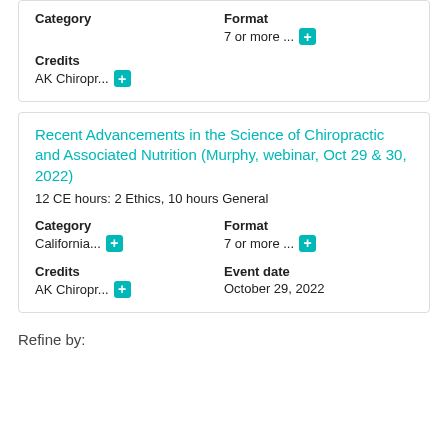| Category | Format |
| --- | --- |
|  | 7 or more ... |
| Credits |  |
| AK Chiropr... |  |
Recent Advancements in the Science of Chiropractic and Associated Nutrition (Murphy, webinar, Oct 29 & 30, 2022)
12 CE hours: 2 Ethics, 10 hours General
| Category | Format | Credits | Event date |
| --- | --- | --- | --- |
| California... | 7 or more ... | AK Chiropr... | October 29, 2022 |
Refine by: